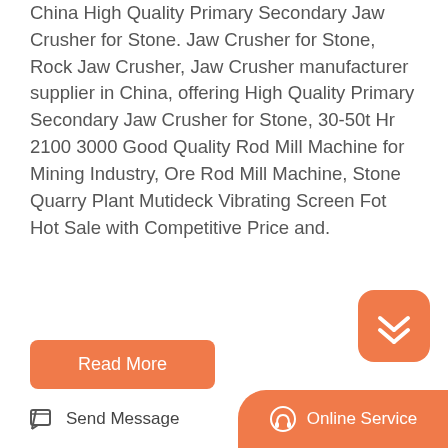China High Quality Primary Secondary Jaw Crusher for Stone. Jaw Crusher for Stone, Rock Jaw Crusher, Jaw Crusher manufacturer supplier in China, offering High Quality Primary Secondary Jaw Crusher for Stone, 30-50t Hr 2100 3000 Good Quality Rod Mill Machine for Mining Industry, Ore Rod Mill Machine, Stone Quarry Plant Mutideck Vibrating Screen Fot Hot Sale with Competitive Price and.
[Figure (screenshot): Orange rounded-rectangle button labeled 'Read More']
[Figure (other): Orange rounded-square scroll-to-top button with upward chevron/arrow icon]
[Figure (photo): Photo of industrial mining/crushing equipment with cranes against a blue sky]
Send Message   Online Service